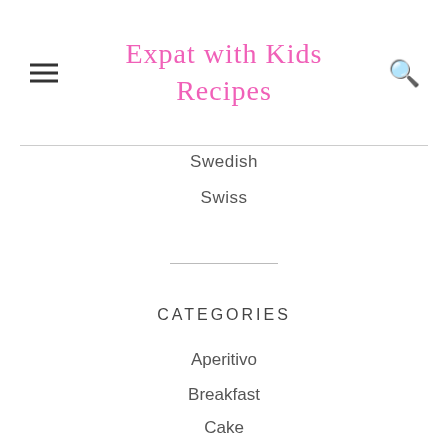Expat with Kids Recipes
Swedish
Swiss
CATEGORIES
Aperitivo
Breakfast
Cake
Celebration